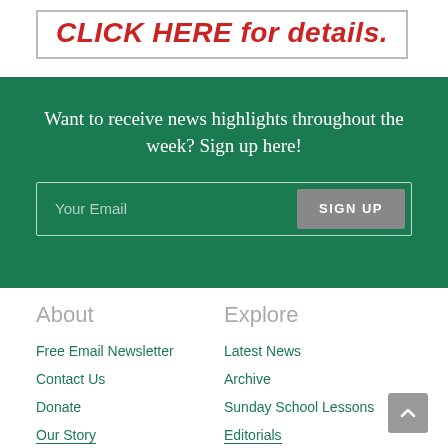[Figure (other): Banner with red bold italic text 'CLICK HERE for details.' inside a bordered box]
Want to receive news highlights throughout the week? Sign up here!
[Figure (other): Email signup form with 'Your Email' placeholder and 'SIGN UP' button]
About
Explore
Free Email Newsletter
Latest News
Contact Us
Archive
Donate
Sunday School Lessons
Our Story
Editorials